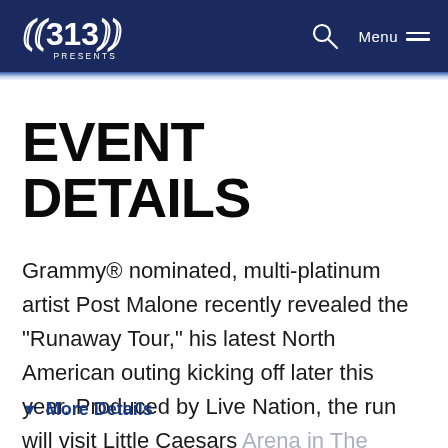313 Presents — navigation bar with logo, search, and menu
EVENT DETAILS
Grammy® nominated, multi-platinum artist Post Malone recently revealed the "Runaway Tour," his latest North American outing kicking off later this year. Produced by Live Nation, the run will visit Little Caesars Arena in The District Detroit on Sunday
More Details